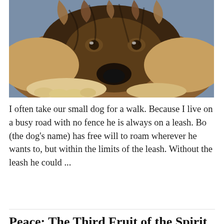[Figure (photo): Close-up photograph of a German Shepherd dog lying down on a blue/grey surface, resting its chin on its paws, looking at the camera with soulful eyes.]
I often take our small dog for a walk. Because I live on a busy road with no fence he is always on a leash. Bo (the dog’s name) has free will to roam wherever he wants to, but within the limits of the leash. Without the leash he could ...
Read More »
Peace: The Third Fruit of the Spirit
August 6, 2021   Faith   0